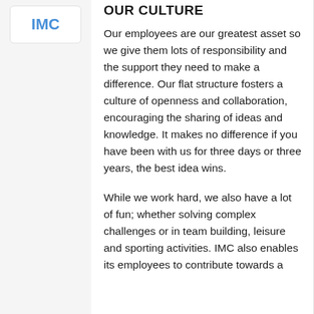[Figure (logo): IMC logo in blue text inside a white rounded box]
OUR CULTURE
Our employees are our greatest asset so we give them lots of responsibility and the support they need to make a difference. Our flat structure fosters a culture of openness and collaboration, encouraging the sharing of ideas and knowledge. It makes no difference if you have been with us for three days or three years, the best idea wins.
While we work hard, we also have a lot of fun; whether solving complex challenges or in team building, leisure and sporting activities. IMC also enables its employees to contribute towards a